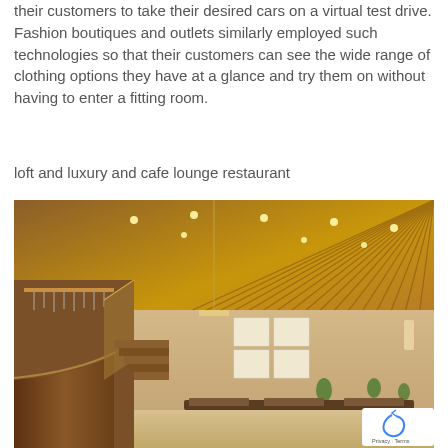their customers to take their desired cars on a virtual test drive. Fashion boutiques and outlets similarly employed such technologies so that their customers can see the wide range of clothing options they have at a glance and try them on without having to enter a fitting room.
loft and luxury and cafe lounge restaurant
[Figure (photo): Interior photo of a loft-style luxury cafe lounge restaurant with wooden slat ceiling, recessed lighting, a curved bar counter on the left side, dining tables with chairs in the background, and warm ambient lighting.]